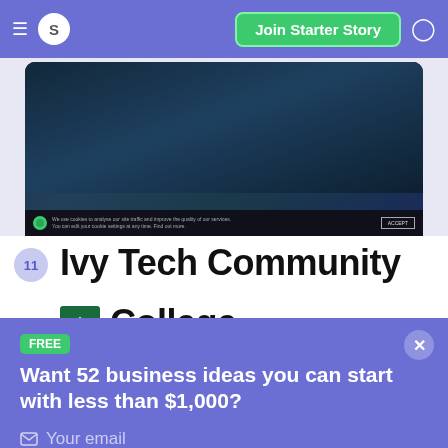S  Join Starter Story
[Figure (screenshot): Screenshot of a website with dark background and cookie consent bar at bottom reading 'We use cookies to analyse our site traffic and improve the quality of our services. You can edit your cookie settings at any time. Find out more.' with ACCEPT button]
11  Ivy Tech Community College
FREE
Want 52 business ideas you can start with less than $1,000?
Your email
Send Now